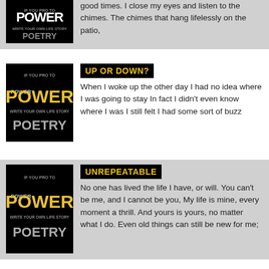[Figure (illustration): Power of Poetry logo on black background, top-left partial card]
good times. I close my eyes and listen to the chimes. The chimes that hang lifelessly on the patio,
[Figure (illustration): Power of Poetry logo on black background]
UP OR DOWN?
When I woke up the other day I had no idea where I was going to stay In fact I didn't even know where I was I still felt I had some sort of buzz
[Figure (illustration): Power of Poetry logo on black background]
UNREPEATABLE
No one has lived the life I have, or will. You can't be me, and I cannot be you, My life is mine, every moment a thrill. And yours is yours, no matter what I do. Even old things can still be new for me;